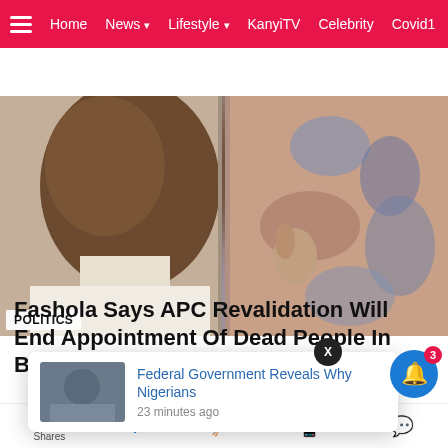Home  News  Lifestyle  KanyiTV  Celebrity  Covid19
[Figure (photo): Hero image showing a close-up of a man's face on the left and a person in patterned fabric on the right, with POLITICS tag overlay]
Fashola Says APC Revalidation Will End Appointment Of Dead People In Buhari's Government
MORE FROM: NEWS
[Figure (photo): Bottom thumbnail image showing people at what appears to be a government event, partially visible]
Federal Government Reveals Why Nigerians
23 minutes ago